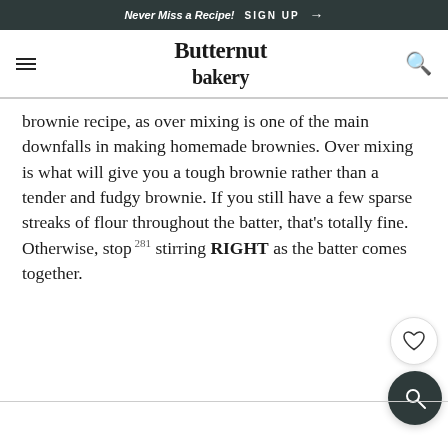Never Miss a Recipe! SIGN UP →
Butternut bakery
brownie recipe, as over mixing is one of the main downfalls in making homemade brownies. Over mixing is what will give you a tough brownie rather than a tender and fudgy brownie. If you still have a few sparse streaks of flour throughout the batter, that's totally fine. Otherwise, stop stirring RIGHT as the batter comes together.